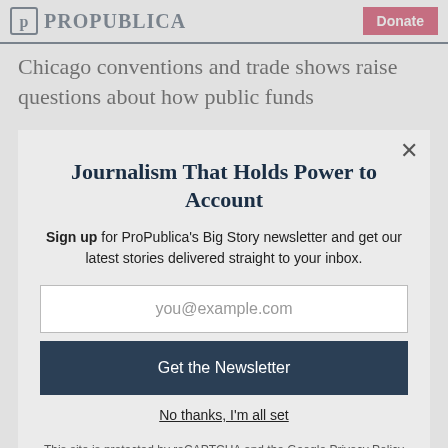ProPublica | Donate
Chicago conventions and trade shows raise questions about how public funds
Journalism That Holds Power to Account
Sign up for ProPublica's Big Story newsletter and get our latest stories delivered straight to your inbox.
you@example.com
Get the Newsletter
No thanks, I'm all set
This site is protected by reCAPTCHA and the Google Privacy Policy and Terms of Service apply.